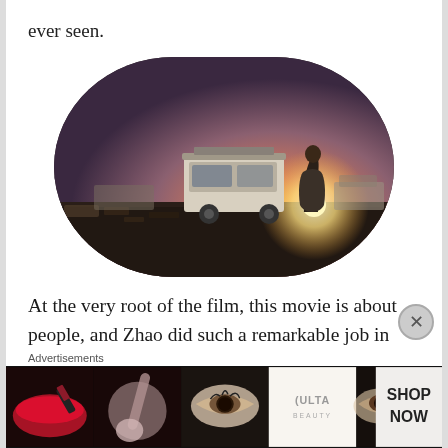ever seen.
[Figure (photo): A person standing near a white van at dusk/sunset in an open field. The sky is purple-pink with a bright sun on the horizon. The scene appears to be from the film Nomadland.]
At the very root of the film, this movie is about people, and Zhao did such a remarkable job in highlighting some of the people that we often forget about. These people don’t have time to stress over the material things in life, and instead find
Advertisements
[Figure (photo): Ulta Beauty advertisement banner showing close-up images of makeup/cosmetics with text SHOP NOW]